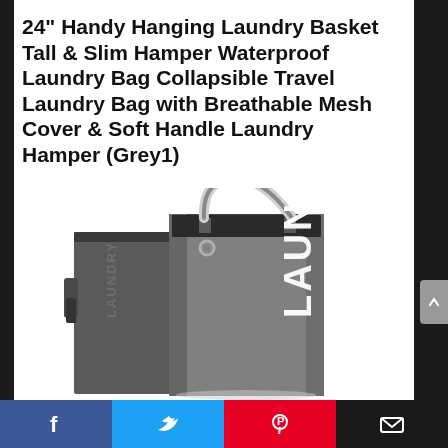24" Handy Hanging Laundry Basket Tall & Slim Hamper Waterproof Laundry Bag Collapsible Travel Laundry Bag with Breathable Mesh Cover & Soft Handle Laundry Hamper (Grey1)
[Figure (photo): Product photo of a tall slim grey laundry hamper bag with white handles, a hook, and white LAUNDRY text on the side, shown from a side/front angle.]
Social share bar with Facebook, Twitter, Pinterest, Email icons